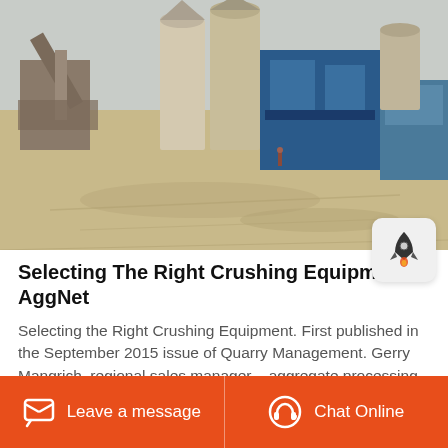[Figure (photo): Industrial quarry crushing plant facility with blue metal buildings, silos, conveyors, and a large open dirt yard under a hazy sky.]
Selecting The Right Crushing Equipment AggNet
Selecting the Right Crushing Equipment. First published in the September 2015 issue of Quarry Management. Gerry Mangrich, regional sales manager – aggregate processing with
Leave a message  Chat Online